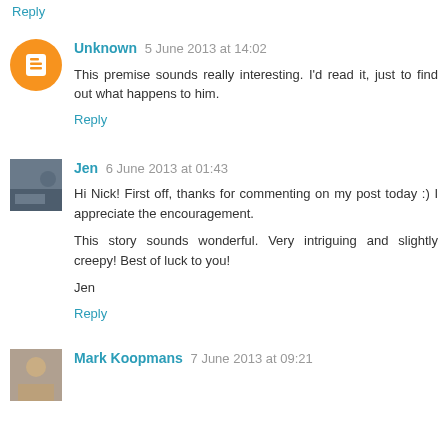Reply
Unknown 5 June 2013 at 14:02
This premise sounds really interesting. I'd read it, just to find out what happens to him.
Reply
Jen 6 June 2013 at 01:43
Hi Nick! First off, thanks for commenting on my post today :) I appreciate the encouragement.

This story sounds wonderful. Very intriguing and slightly creepy! Best of luck to you!

Jen
Reply
Mark Koopmans 7 June 2013 at 09:21